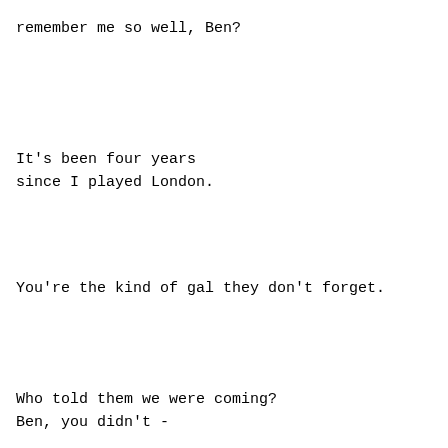remember me so well, Ben?
It's been four years
since I played London.
You're the kind of gal they don't forget.
Who told them we were coming?
Ben, you didn't -